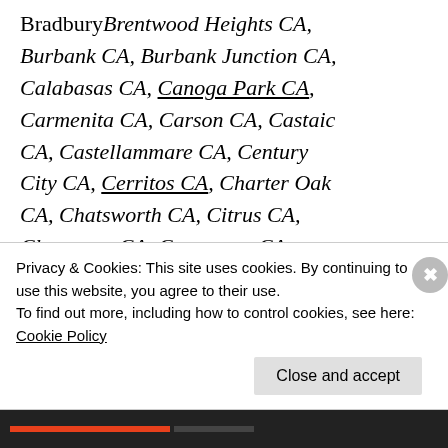BradburyBrentwood Heights CA, Burbank CA, Burbank Junction CA, Calabasas CA, Canoga Park CA, Carmenita CA, Carson CA, Castaic CA, Castellammare CA, Century City CA, Cerritos CA, Charter Oak CA, Chatsworth CA, Citrus CA, Claremont CA, Commerce CA, Compton CA, Covina CA, Cudahy CA, Culver City CA, Del Aire CA, Del
Privacy & Cookies: This site uses cookies. By continuing to use this website, you agree to their use. To find out more, including how to control cookies, see here: Cookie Policy
Close and accept